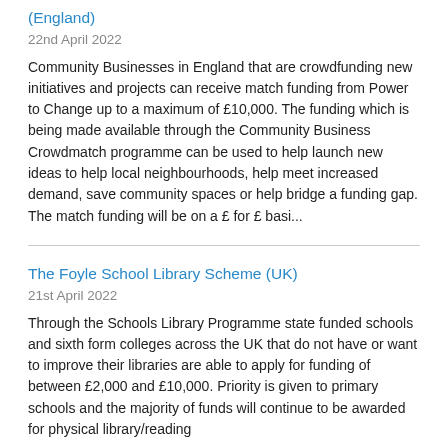(England)
22nd April 2022
Community Businesses in England that are crowdfunding new initiatives and projects can receive match funding from Power to Change up to a maximum of £10,000. The funding which is being made available through the Community Business Crowdmatch programme can be used to help launch new ideas to help local neighbourhoods, help meet increased demand, save community spaces or help bridge a funding gap. The match funding will be on a £ for £ basi...
The Foyle School Library Scheme (UK)
21st April 2022
Through the Schools Library Programme state funded schools and sixth form colleges across the UK that do not have or want to improve their libraries are able to apply for funding of between £2,000 and £10,000. Priority is given to primary schools and the majority of funds will continue to be awarded for physical library/reading